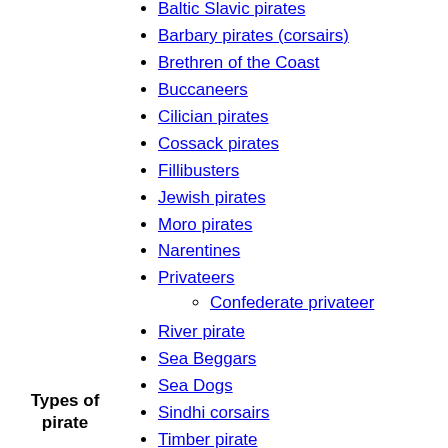Baltic Slavic pirates
Barbary pirates (corsairs)
Brethren of the Coast
Buccaneers
Cilician pirates
Cossack pirates
Fillibusters
Jewish pirates
Moro pirates
Narentines
Privateers
Confederate privateer
River pirate
Sea Beggars
Sea Dogs
Sindhi corsairs
Timber pirate
Ushkuyniks
Uskoks
Vikings
Victual Brothers
Wokou
Types of pirate
Caribbean
British Virgin Islands